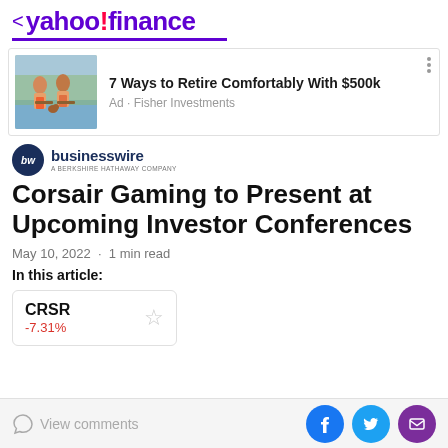< yahoo!finance
[Figure (illustration): Ad banner: two elderly people paddleboarding with a dog, promoting Fisher Investments. Text: '7 Ways to Retire Comfortably With $500k' and 'Ad · Fisher Investments']
[Figure (logo): BusinessWire logo - a Berkshire Hathaway company]
Corsair Gaming to Present at Upcoming Investor Conferences
May 10, 2022 · 1 min read
In this article:
| Ticker | Change |
| --- | --- |
| CRSR | -7.31% |
View comments